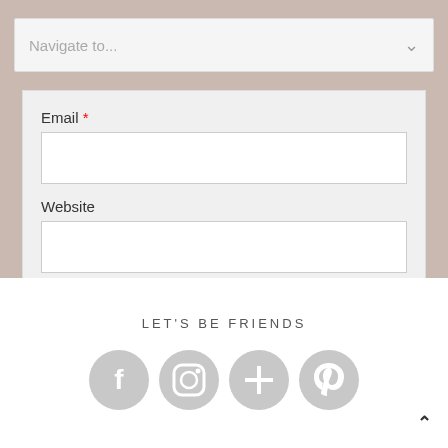Navigate to...
Email *
Website
Comment
LET'S BE FRIENDS
[Figure (infographic): Four circular social media icons: Facebook, Instagram, Google+, Pinterest — all in light gray]